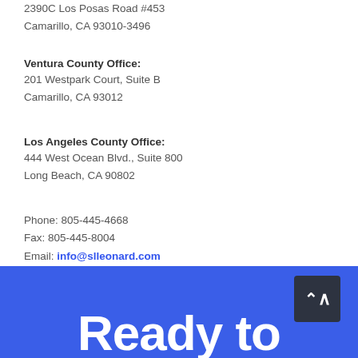2390C Los Posas Road #453
Camarillo, CA 93010-3496
Ventura County Office:
201 Westpark Court, Suite B
Camarillo, CA 93012
Los Angeles County Office:
444 West Ocean Blvd., Suite 800
Long Beach, CA 90802
Phone: 805-445-4668
Fax: 805-445-8004
Email: info@slleonard.com
Ready to